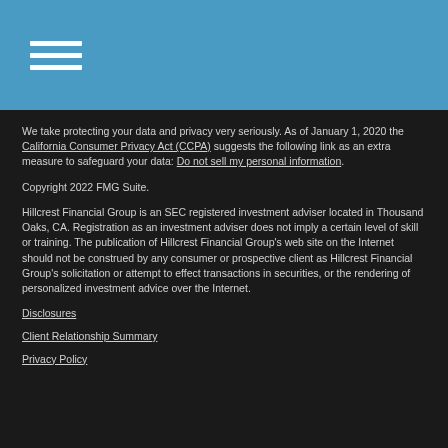[hamburger menu icon]
We take protecting your data and privacy very seriously. As of January 1, 2020 the California Consumer Privacy Act (CCPA) suggests the following link as an extra measure to safeguard your data: Do not sell my personal information.
Copyright 2022 FMG Suite.
Hillcrest Financial Group is an SEC registered investment adviser located in Thousand Oaks, CA. Registration as an investment adviser does not imply a certain level of skill or training. The publication of Hillcrest Financial Group's web site on the Internet should not be construed by any consumer or prospective client as Hillcrest Financial Group's solicitation or attempt to effect transactions in securities, or the rendering of personalized investment advice over the Internet.
Disclosures
Client Relationship Summary
Privacy Policy